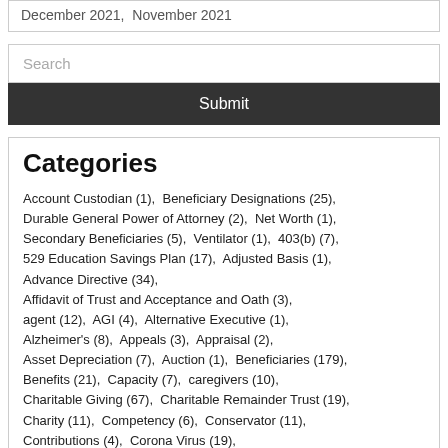December 2021,  November 2021
Search
Submit
Categories
Account Custodian (1),  Beneficiary Designations (25),  Durable General Power of Attorney (2),  Net Worth (1),  Secondary Beneficiaries (5),  Ventilator (1),  403(b) (7),  529 Education Savings Plan (17),  Adjusted Basis (1),  Advance Directive (34),  Affidavit of Trust and Acceptance and Oath (3),  agent (12),  AGI (4),  Alternative Executive (1),  Alzheimer's (8),  Appeals (3),  Appraisal (2),  Asset Depreciation (7),  Auction (1),  Beneficiaries (179),  Benefits (21),  Capacity (7),  caregivers (10),  Charitable Giving (67),  Charitable Remainder Trust (19),  Charity (11),  Competency (6),  Conservator (11),  Contributions (4),  Corona Virus (19),